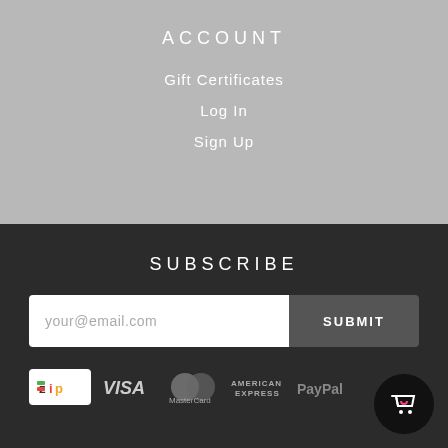ACCOUNT
Gift Certificates
Log In
Sign Up
SUBSCRIBE
your@email.com
SUBMIT
[Figure (other): Payment method logos: Zip, Visa, MasterCard, American Express, PayPal, and a shopping bag icon button]